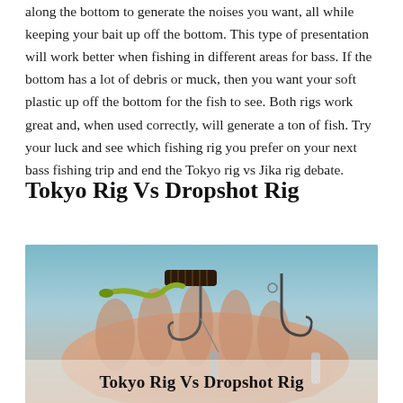along the bottom to generate the noises you want, all while keeping your bait up off the bottom. This type of presentation will work better when fishing in different areas for bass. If the bottom has a lot of debris or muck, then you want your soft plastic up off the bottom for the fish to see. Both rigs work great and, when used correctly, will generate a ton of fish. Try your luck and see which fishing rig you prefer on your next bass fishing trip and end the Tokyo rig vs Jika rig debate.
Tokyo Rig Vs Dropshot Rig
[Figure (photo): Photo of fishing rigs (Tokyo Rig vs Dropshot Rig) showing hooks, weights, and soft plastic lures held in a hand, with text overlay 'Tokyo Rig Vs Dropshot Rig']